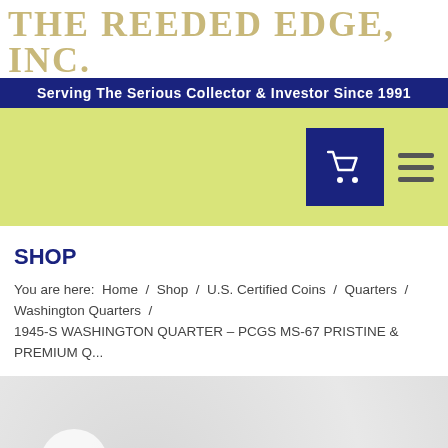THE REEDED EDGE, INC.
Serving The Serious Collector & Investor Since 1991
SHOP
You are here:  Home  /  Shop  /  U.S. Certified Coins  /  Quarters  /  Washington Quarters  /  1945-S WASHINGTON QUARTER – PCGS MS-67 PRISTINE & PREMIUM Q...
[Figure (screenshot): Light grey product image area with a circular search icon on the left side]